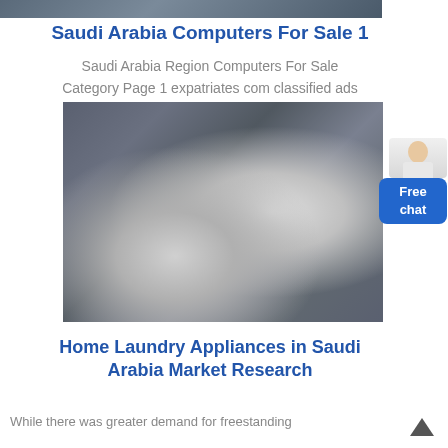[Figure (photo): Top portion of a website screenshot showing a partial image at the very top]
Saudi Arabia Computers For Sale 1
Saudi Arabia Region Computers For Sale
Category Page 1 expatriates com classified ads
[Figure (photo): Industrial equipment showing large white cylindrical ducts or ventilation pipes inside a metal-roofed warehouse or factory building]
Home Laundry Appliances in Saudi Arabia Market Research
While there was greater demand for freestanding